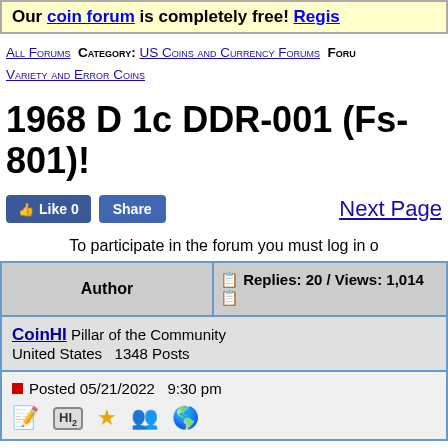Our coin forum is completely free! Regis…
All Forums  Category: US Coins and Currency Forums  Foru… Variety and Error Coins
1968 D 1c DDR-001 (Fs-801)!
Like 0  Share  Next Page
To participate in the forum you must log in o…
| Author | Replies: 20 / Views: 1,014 |
| --- | --- |
| CoinHI  Pillar of the Community
United States  1348 Posts | Posted 05/21/2022  9:30 pm |